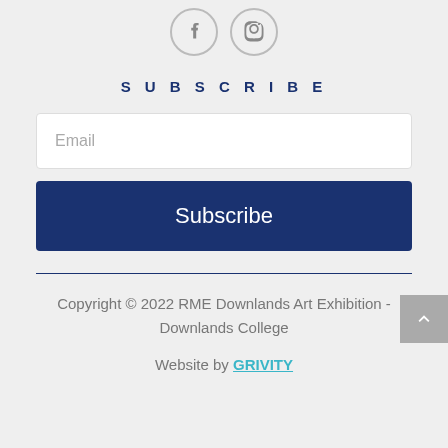[Figure (illustration): Social media icons: Facebook and Instagram circles with grey outlines]
SUBSCRIBE
Email
Subscribe
Copyright © 2022 RME Downlands Art Exhibition - Downlands College
Website by GRIVITY